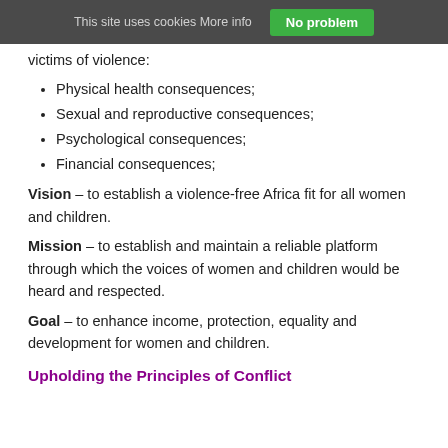This site uses cookies More info   No problem
victims of violence:
Physical health consequences;
Sexual and reproductive consequences;
Psychological consequences;
Financial consequences;
Vision – to establish a violence-free Africa fit for all women and children.
Mission – to establish and maintain a reliable platform through which the voices of women and children would be heard and respected.
Goal – to enhance income, protection, equality and development for women and children.
Upholding the Principles of Conflict